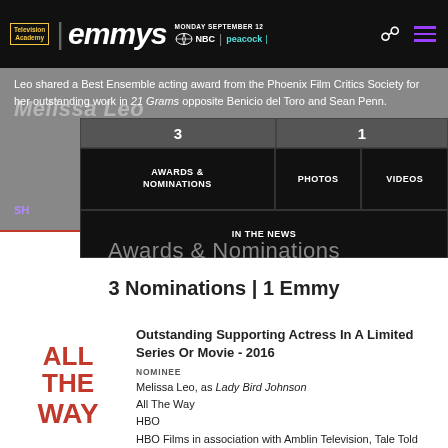Television Academy | emmys | MONDAY SEPTEMBER 12 | NBC | peacock
Leo shared a Best Ensemble acting award from the Phoenix Film Critics Society for her outstanding work in 21 Grams opposite Benicio del Toro and Sean Penn.
SH
3 | AWARDS & NOMINATIONS | PHOTOS | 1 | VIDEOS | IN THE NEWS
Awards & Nominations
3 Nominations | 1 Emmy
[Figure (logo): ALL THE WAY logo in bold red block letters]
Outstanding Supporting Actress In A Limited Series Or Movie - 2016
NOMINEE
Melissa Leo, as Lady Bird Johnson
All The Way
HBO
HBO Films in association with Amblin Television, Tale Told Productions, Moonshot Entertainment and Everyman